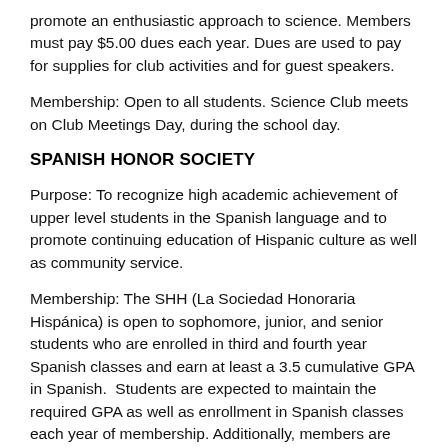promote an enthusiastic approach to science. Members must pay $5.00 dues each year. Dues are used to pay for supplies for club activities and for guest speakers.
Membership: Open to all students. Science Club meets on Club Meetings Day, during the school day.
SPANISH HONOR SOCIETY
Purpose: To recognize high academic achievement of upper level students in the Spanish language and to promote continuing education of Hispanic culture as well as community service.
Membership: The SHH (La Sociedad Honoraria Hispánica) is open to sophomore, junior, and senior students who are enrolled in third and fourth year Spanish classes and earn at least a 3.5 cumulative GPA in Spanish.  Students are expected to maintain the required GPA as well as enrollment in Spanish classes each year of membership. Additionally, members are required to pay dues, participate in 75% of the SHH activities, participate in the annual fundraiser, and attend